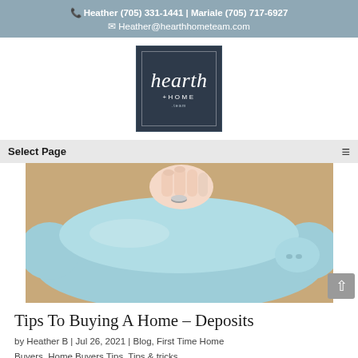Heather (705) 331-1441 | Mariale (705) 717-6927
Heather@hearthhometeam.com
[Figure (logo): Hearth + Home team logo: dark navy square with script 'hearth' text and '+HOME' subtitle]
Select Page
[Figure (photo): Close-up photo of a hand inserting a coin into a light blue piggy bank on a wooden surface]
Tips To Buying A Home – Deposits
by Heather B | Jul 26, 2021 | Blog, First Time Home Buyers, Home Buyers Tips, Tips & tricks